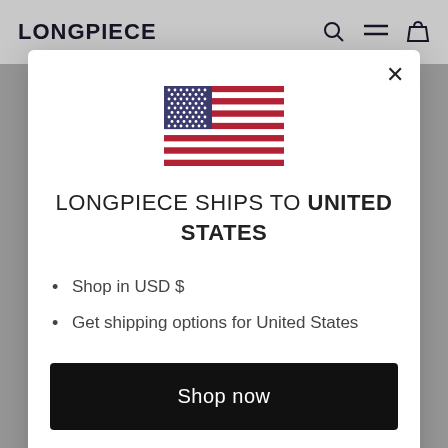LONGPIECE
[Figure (illustration): US flag emoji/illustration centered in modal dialog]
LONGPIECE SHIPS TO UNITED STATES
Shop in USD $
Get shipping options for United States
Shop now
Change shipping country